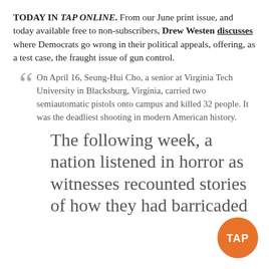TODAY IN TAP ONLINE. From our June print issue, and today available free to non-subscribers, Drew Westen discusses where Democrats go wrong in their political appeals, offering, as a test case, the fraught issue of gun control.
On April 16, Seung-Hui Cho, a senior at Virginia Tech University in Blacksburg, Virginia, carried two semiautomatic pistols onto campus and killed 32 people. It was the deadliest shooting in modern American history.
The following week, a nation listened in horror as witnesses recounted stories of how they had barricaded
[Figure (logo): TAP logo — orange circle with white text TAP]